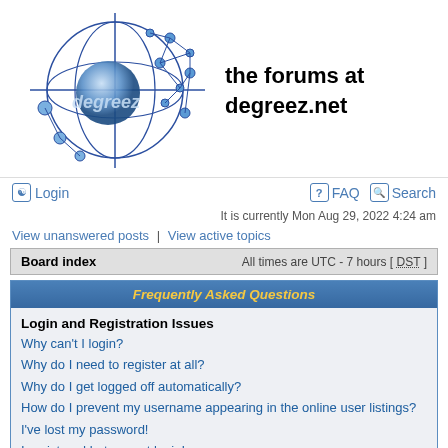[Figure (logo): Degreez network logo with blue spheres and interconnected nodes forming a globe shape with crosshair, and 'degreez' text in metallic letters]
the forums at degreez.net
Login | FAQ | Search
It is currently Mon Aug 29, 2022 4:24 am
View unanswered posts | View active topics
Board index    All times are UTC - 7 hours [ DST ]
Frequently Asked Questions
Login and Registration Issues
Why can't I login?
Why do I need to register at all?
Why do I get logged off automatically?
How do I prevent my username appearing in the online user listings?
I've lost my password!
I registered but cannot login!
I registered in the past but cannot login any more?!